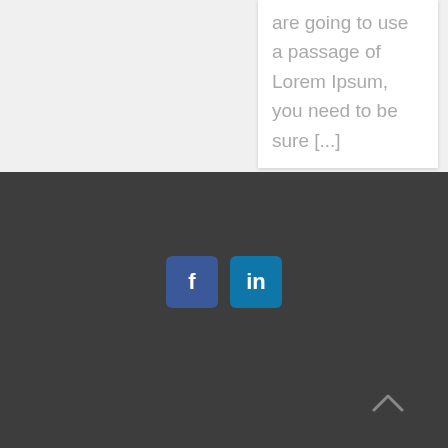are going to use a passage of Lorem Ipsum, you need to be sure [...]
[Figure (illustration): Social media icons: Facebook (dark blue square with 'f') and LinkedIn (blue square with 'in') centered on a dark gray footer background]